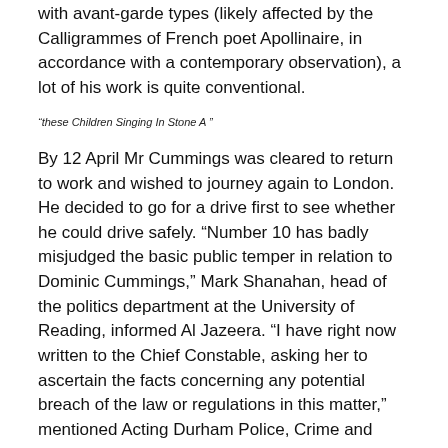with avant-garde types (likely affected by the Calligrammes of French poet Apollinaire, in accordance with a contemporary observation), a lot of his work is quite conventional.
“these Children Singing In Stone A”
By 12 April Mr Cummings was cleared to return to work and wished to journey again to London. He decided to go for a drive first to see whether he could drive safely. “Number 10 has badly misjudged the basic public temper in relation to Dominic Cummings,” Mark Shanahan, head of the politics department at the University of Reading, informed Al Jazeera. “I have right now written to the Chief Constable, asking her to ascertain the facts concerning any potential breach of the law or regulations in this matter,” mentioned Acting Durham Police, Crime and Victims’ Commissioner Steve White in a statement.
The government’s help for the prime minister’s prime aide is undermining public well-being recommendation, say...